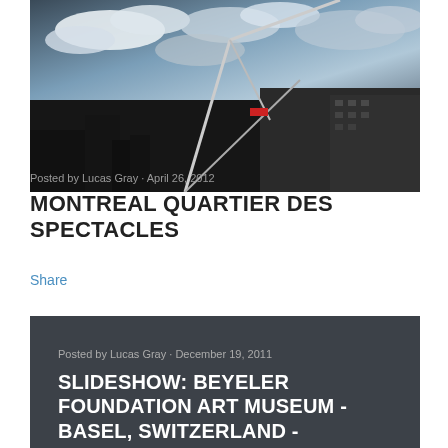[Figure (photo): Urban cityscape photo showing construction cranes and buildings against a cloudy sky, dark moody tone, Montreal Quartier des Spectacles area]
Posted by Lucas Gray · April 26, 2012
MONTREAL QUARTIER DES SPECTACLES
Share
Posted by Lucas Gray · December 19, 2011
SLIDESHOW: BEYELER FOUNDATION ART MUSEUM - BASEL, SWITZERLAND -